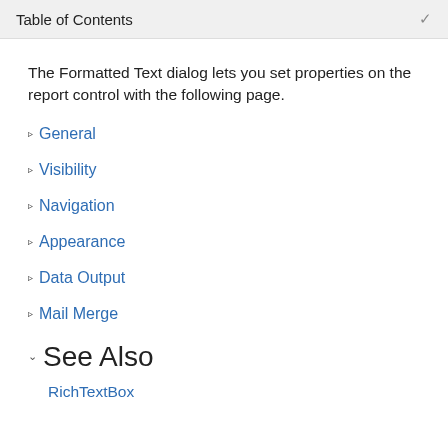Table of Contents
The Formatted Text dialog lets you set properties on the report control with the following page.
General
Visibility
Navigation
Appearance
Data Output
Mail Merge
See Also
RichTextBox